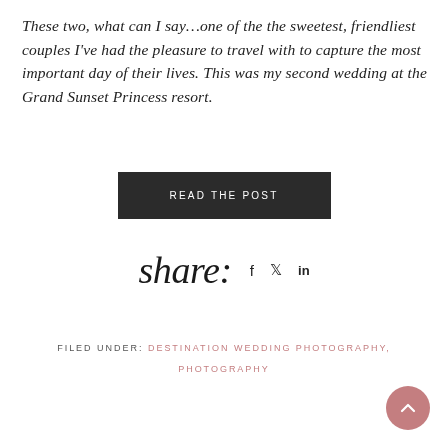These two, what can I say…one of the the sweetest, friendliest couples I've had the pleasure to travel with to capture the most important day of their lives. This was my second wedding at the Grand Sunset Princess resort.
READ THE POST
share: f  in
FILED UNDER: DESTINATION WEDDING PHOTOGRAPHY, PHOTOGRAPHY